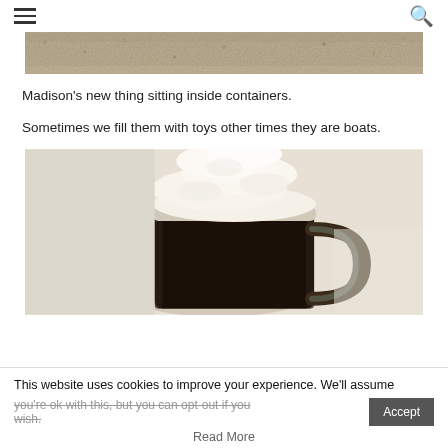☰ [search icon]
[Figure (photo): Top cropped photo showing a textured stone or granite surface in beige/grey tones]
Madison's new thing sitting inside containers.
Sometimes we fill them with toys other times they are boats.
[Figure (photo): A glass mug filled with dark coffee/stout beer topped with a mound of whipped cream, sitting on a light beige surface]
This website uses cookies to improve your experience. We'll assume you're ok with this, but you can opt-out if you wish.
Read More